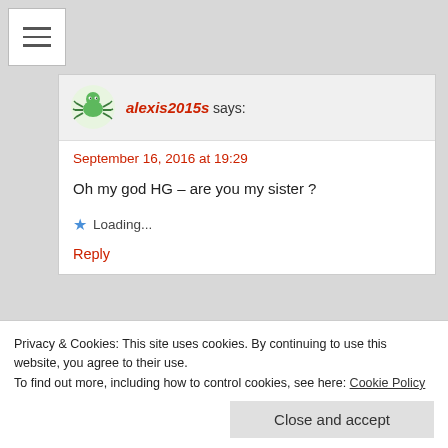[Figure (other): Hamburger menu button icon with three horizontal lines]
alexis2015s says:
September 16, 2016 at 19:29
Oh my god HG – are you my sister ?
Loading...
Reply
Cara says:
Privacy & Cookies: This site uses cookies. By continuing to use this website, you agree to their use.
To find out more, including how to control cookies, see here: Cookie Policy
Close and accept